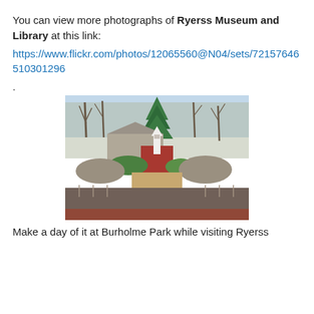You can view more photographs of Ryerss Museum and Library at this link:
https://www.flickr.com/photos/12065560@N04/sets/72157646510301296
.
[Figure (photo): Outdoor park scene showing miniature replica buildings including a red building with a white clock tower, surrounded by bare trees, greenery, rocky landscaping, wooden walkways, and a water feature in the foreground.]
Make a day of it at Burholme Park while visiting Ryerss